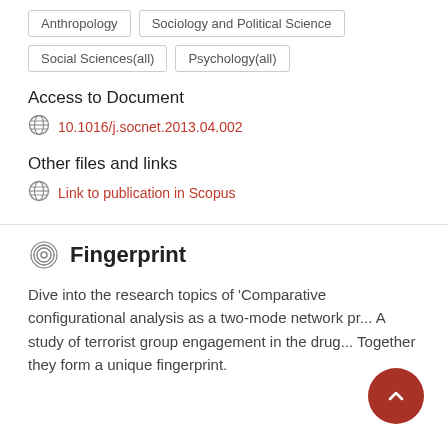Anthropology
Sociology and Political Science
Social Sciences(all)
Psychology(all)
Access to Document
10.1016/j.socnet.2013.04.002
Other files and links
Link to publication in Scopus
Fingerprint
Dive into the research topics of 'Comparative configurational analysis as a two-mode network pr... A study of terrorist group engagement in the drug... Together they form a unique fingerprint.